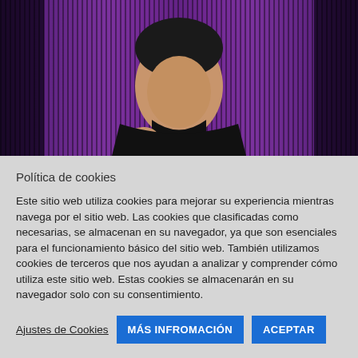[Figure (screenshot): Video thumbnail showing a man in a black shirt speaking against a purple striped background]
Política de cookies
Este sitio web utiliza cookies para mejorar su experiencia mientras navega por el sitio web. Las cookies que clasificadas como necesarias, se almacenan en su navegador, ya que son esenciales para el funcionamiento básico del sitio web. También utilizamos cookies de terceros que nos ayudan a analizar y comprender cómo utiliza este sitio web. Estas cookies se almacenarán en su navegador solo con su consentimiento.
Ajustes de Cookies | MÁS INFROMACIÓN | ACEPTAR